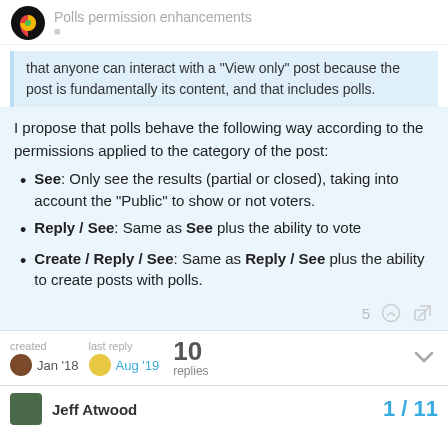Polls permission enhancements
that anyone can interact with a “View only” post because the post is fundamentally its content, and that includes polls.
I propose that polls behave the following way according to the permissions applied to the category of the post:
See: Only see the results (partial or closed), taking into account the “Public” to show or not voters.
Reply / See: Same as See plus the ability to vote
Create / Reply / See: Same as Reply / See plus the ability to create posts with polls.
created Jan ’18   last reply Aug ’19   10 replies
Jeff Atwood   1 / 11